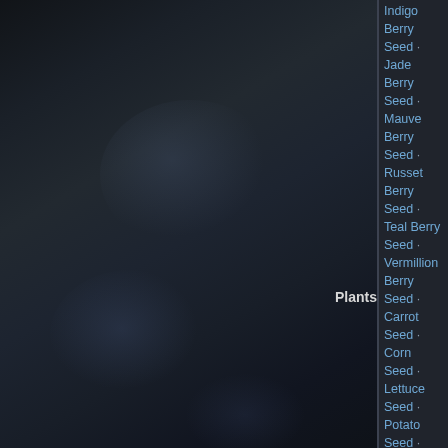[Figure (photo): Dark background image, appears to be a screenshot from a game wiki with a dim, moody environment photo on the left side]
| Category | Items |
| --- | --- |
| Plants | Indigo Berry Seed · Jade Berry Seed · Mauve Berry Seed · Russet Berry Seed · Teal Berry Seed · Vermillion Berry Seed · Carrot Seed · Corn Seed · Lettuce Seed · Potato Seed · Pumpkin Seed · Tomato Seed · Wheat Seed |
| Traps | Barbed Wire (Ornamental) · Barbed Wire Fence (Ornamental) · Caltrop · Claymore · Landmine · Snare · Spikes |
|  | Bounce Charge · |